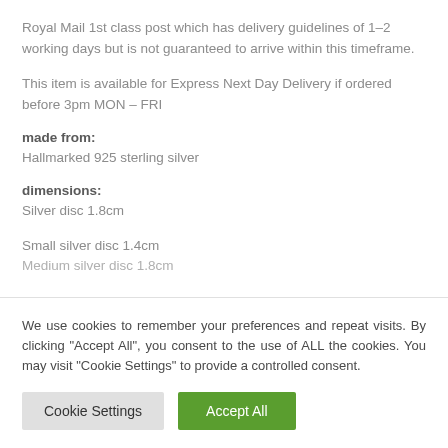Royal Mail 1st class post which has delivery guidelines of 1–2 working days but is not guaranteed to arrive within this timeframe.
This item is available for Express Next Day Delivery if ordered before 3pm MON – FRI
made from:
Hallmarked 925 sterling silver
dimensions:
Silver disc 1.8cm
Small silver disc 1.4cm
Medium silver disc 1.8 (partially visible/cut off)
We use cookies to remember your preferences and repeat visits. By clicking "Accept All", you consent to the use of ALL the cookies. You may visit "Cookie Settings" to provide a controlled consent.
Cookie Settings
Accept All